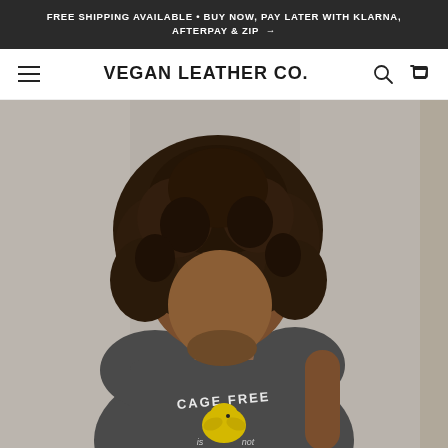FREE SHIPPING AVAILABLE • BUY NOW, PAY LATER WITH KLARNA, AFTERPAY & ZIP →
VEGAN LEATHER CO.
[Figure (photo): A woman with curly dark hair, head tilted down, wearing a dark grey sleeveless top/vest with a graphic print reading 'CAGE FREE is not' with a yellow chick illustration. Background is a textured grey wall.]